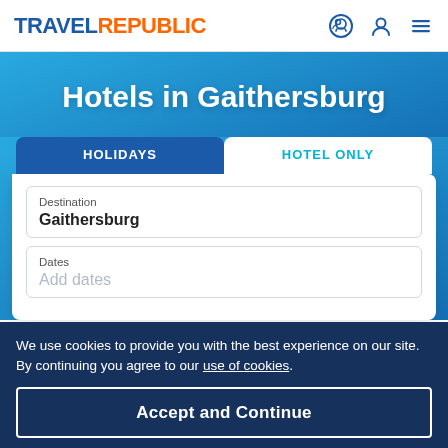TRAVEL REPUBLIC
Hotels in Gaithersburg
HOLIDAYS | HOTEL ONLY
Destination: Gaithersburg
Dates: Add dates
We use cookies to provide you with the best experience on our site. By continuing you agree to our use of cookies.
Accept and Continue